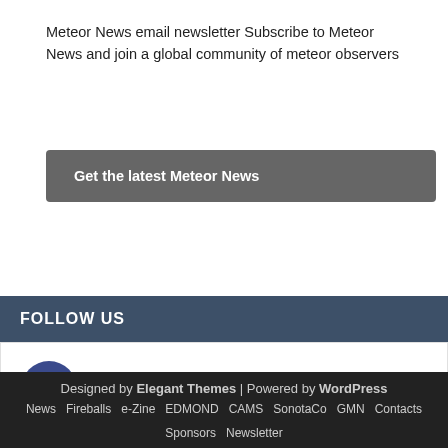Meteor News email newsletter Subscribe to Meteor News and join a global community of meteor observers
Get the latest Meteor News
FOLLOW US
FACEBOOK
TWITTER
Designed by Elegant Themes | Powered by WordPress
News  Fireballs  e-Zine  EDMOND  CAMS  SonotaCo
GMN  Contacts  Sponsors  Newsletter